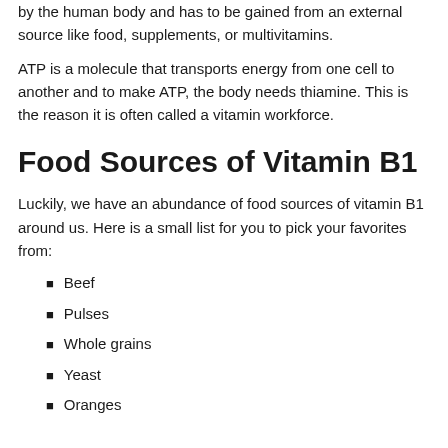by the human body and has to be gained from an external source like food, supplements, or multivitamins.
ATP is a molecule that transports energy from one cell to another and to make ATP, the body needs thiamine. This is the reason it is often called a vitamin workforce.
Food Sources of Vitamin B1
Luckily, we have an abundance of food sources of vitamin B1 around us. Here is a small list for you to pick your favorites from:
Beef
Pulses
Whole grains
Yeast
Oranges